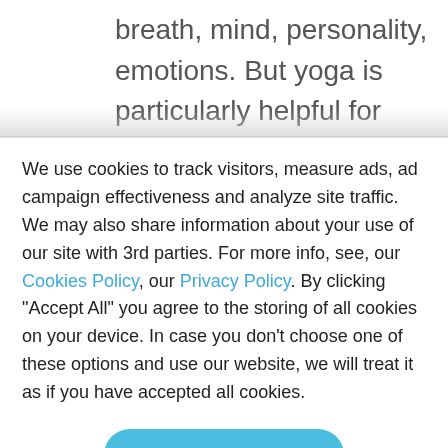breath, mind, personality, emotions. But yoga is particularly helpful for stress relief as it encourages an increase in mindfulness and self-compassion through
We use cookies to track visitors, measure ads, ad campaign effectiveness and analyze site traffic. We may also share information about your use of our site with 3rd parties. For more info, see, our Cookies Policy, our Privacy Policy. By clicking "Accept All" you agree to the storing of all cookies on your device. In case you don't choose one of these options and use our website, we will treat it as if you have accepted all cookies.
ACCEPT ALL
principle of yoga is that your